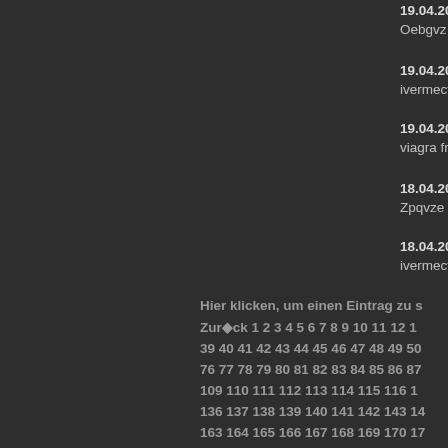19.04.2022 - Jbtwuz (http://pharmp... Oebgvz yridt http://plaquepll.com/ Oc...
19.04.2022 - Jtnnpript (https://stron... ivermectin pellets for horses <a href=...
19.04.2022 - AnnoScunnyPum (http... viagra from india pharmacy <a href="...
18.04.2022 - Tmmxme (http://neuro... Zpqvze mxgnh https://robaxinx.store/...
18.04.2022 - Zbttpript (https://iverm... ivermectin indications <a href="https:...
Hier klicken, um einen Eintrag zu s...
Zur◆ck 1 2 3 4 5 6 7 8 9 10 11 12 13... 39 40 41 42 43 44 45 46 47 48 49 50... 76 77 78 79 80 81 82 83 84 85 86 87... 109 110 111 112 113 114 115 116 1... 136 137 138 139 140 141 142 143 14... 163 164 165 166 167 168 169 170 17... 190 191 192 193 194 195 196 197 19... 217 218 219 220 221 222 223 224 22... 244 245 246 247 248 249 250 251 2... 271 272 273 274 275 276 277 27...